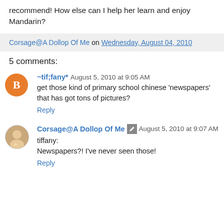recommend! How else can I help her learn and enjoy Mandarin?
Corsage@A Dollop Of Me on Wednesday, August 04, 2010
5 comments:
~tif;fany* August 5, 2010 at 9:05 AM
get those kind of primary school chinese 'newspapers' that has got tons of pictures?
Reply
Corsage@A Dollop Of Me August 5, 2010 at 9:07 AM
tiffany:
Newspapers?! I've never seen those!
Reply